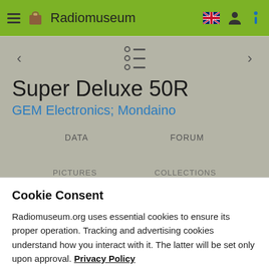Radiomuseum
Super Deluxe 50R
GEM Electronics; Mondaino
DATA    FORUM
PICTURES    COLLECTIONS
Cookie Consent
Radiomuseum.org uses essential cookies to ensure its proper operation. Tracking and advertising cookies understand how you interact with it. The latter will be set only upon approval. Privacy Policy